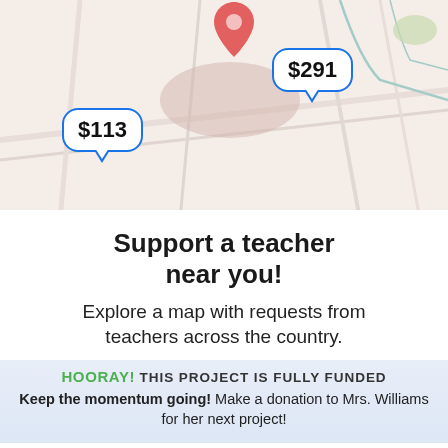[Figure (map): Map background showing local street map with a red location pin at top center, a beige/salmon shaded area, two blue speech bubble callouts showing dollar amounts $113 (left) and $291 (right)]
Support a teacher near you!
Explore a map with requests from teachers across the country.
HOORAY! THIS PROJECT IS FULLY FUNDED
Keep the momentum going! Make a donation to Mrs. Williams for her next project!
Help Mrs. Williams